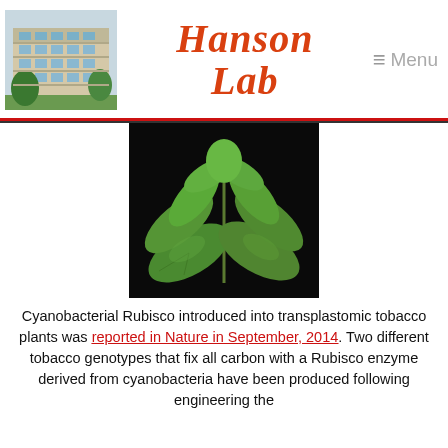[Figure (photo): Hanson Lab website header with building photo on left, italic red cursive 'Hanson Lab' logo in center, and menu icon with 'Menu' text on right]
[Figure (photo): Tobacco plant with large green leaves against a dark/black background]
Cyanobacterial Rubisco introduced into transplastomic tobacco plants was reported in Nature in September, 2014. Two different tobacco genotypes that fix all carbon with a Rubisco enzyme derived from cyanobacteria have been produced following engineering the